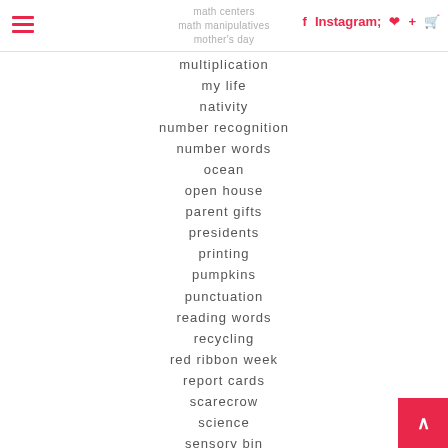math centers | math manipulatives | mother's day
multiplication
my life
nativity
number recognition
number words
ocean
open house
parent gifts
presidents
printing
pumpkins
punctuation
reading words
recycling
red ribbon week
report cards
scarecrow
science
sensory bin
sentences